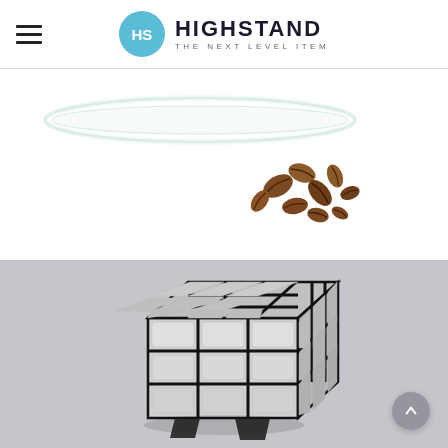HIGHSTAND — THE NEXT LEVEL ITEM
[Figure (photo): Product photo showing a glass plate/bowl with scattered coffee beans on white background]
[Figure (photo): Product photo showing a silver/white mirror Rubik's cube puzzle on light grey background, with a circular scroll-to-top arrow button in the lower right corner]